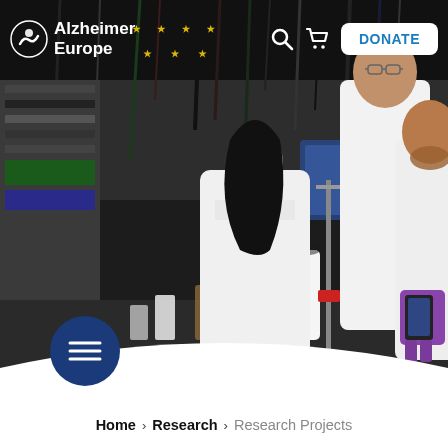[Figure (photo): Laboratory scene with three researchers in white lab coats working with scientific equipment, cables, bottles and apparatus on a bench.]
Alzheimer Europe | DONATE
Home > Research > Research Projects